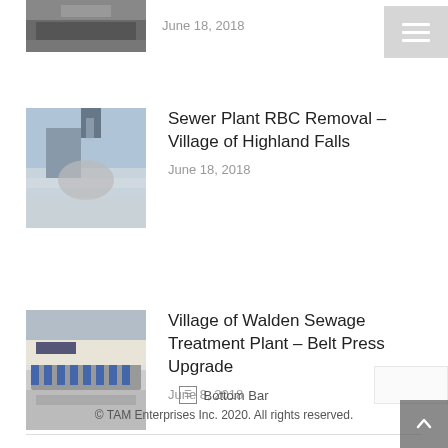[Figure (photo): Partial view of an industrial/sewer plant building exterior, dark tones]
June 18, 2018
[Figure (photo): Crane lifting equipment at a sewer plant construction site, outdoor, trees in background]
Sewer Plant RBC Removal – Village of Highland Falls
June 18, 2018
[Figure (photo): Industrial belt press machinery with blue motors, inside a facility]
Village of Walden Sewage Treatment Plant – Belt Press Upgrade
June 8, 2018
Bottom Bar
© TAM Enterprises Inc. 2020. All rights reserved.